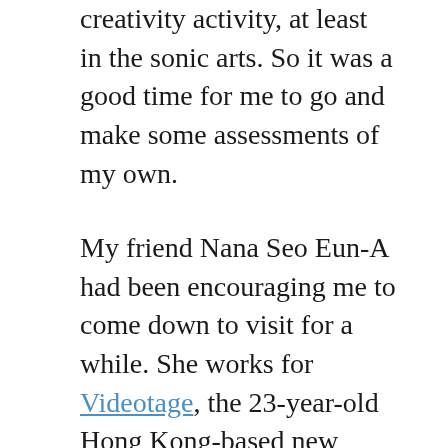creativity activity, at least in the sonic arts. So it was a good time for me to go and make some assessments of my own.
My friend Nana Seo Eun-A had been encouraging me to come down to visit for a while. She works for Videotage, the 23-year-old Hong Kong-based new media center, but she always seems to be anywhere there's cool stuff going on in Asian art. I met her in Beijing last April, when my and Chen Hangfeng's [icons] Kaleidoscope installation was up at the Today Art Museum (coinciding with the China International Gallery Exposition, just up the road), and she stopped by my workspace on a recent visit to Shanghai for the SH